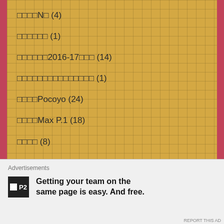□□□□N□ (4)
□□□□□□ (1)
□□□□□□2016-17□□□ (14)
□□□□□□□□□□□□□□□ (1)
□□□□Pocoyo (24)
□□□□Max P.1 (18)
□□□□ (8)
□□□□□ (31)
□□□□□□□□□ (12)
□□□□□□□□□□□ (2)
□□□□□ 2016 – □□□□□□□ (10)
Advertisements
Getting your team on the same page is easy. And free.